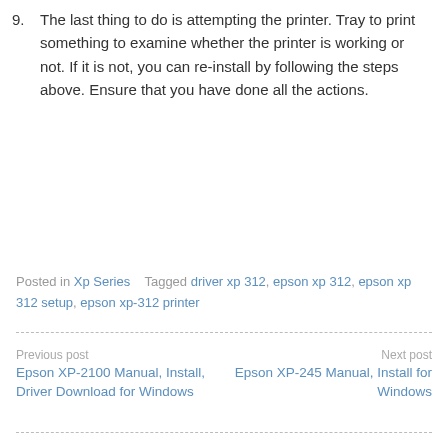9. The last thing to do is attempting the printer. Tray to print something to examine whether the printer is working or not. If it is not, you can re-install by following the steps above. Ensure that you have done all the actions.
Posted in Xp Series   Tagged driver xp 312, epson xp 312, epson xp 312 setup, epson xp-312 printer
Previous post
Epson XP-2100 Manual, Install, Driver Download for Windows
Next post
Epson XP-245 Manual, Install for Windows